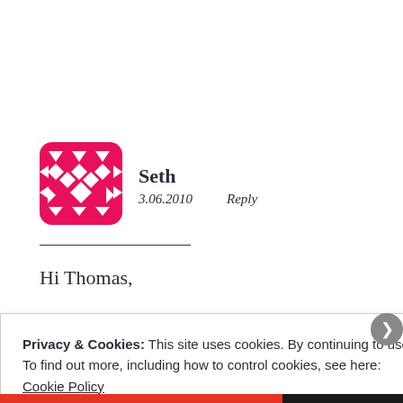[Figure (illustration): Pink/magenta geometric patterned avatar icon with diamond and triangle shapes]
Seth
3.06.2010   Reply
Hi Thomas,
Privacy & Cookies: This site uses cookies. By continuing to use this website, you agree to their use.
To find out more, including how to control cookies, see here:
Cookie Policy